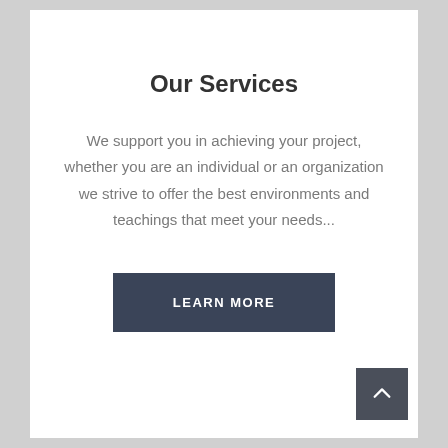Our Services
We support you in achieving your project, whether you are an individual or an organization we strive to offer the best environments and teachings that meet your needs...
LEARN MORE